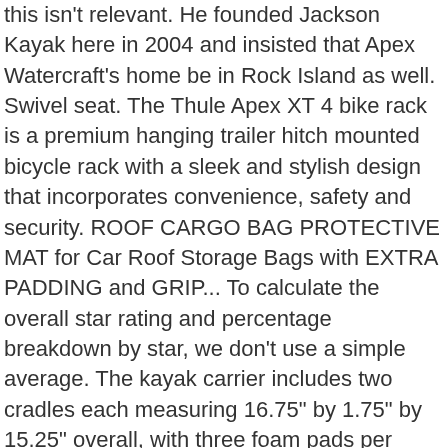this isn't relevant. He founded Jackson Kayak here in 2004 and insisted that Apex Watercraft's home be in Rock Island as well. Swivel seat. The Thule Apex XT 4 bike rack is a premium hanging trailer hitch mounted bicycle rack with a sleek and stylish design that incorporates convenience, safety and security. ROOF CARGO BAG PROTECTIVE MAT for Car Roof Storage Bags with EXTRA PADDING and GRIP... To calculate the overall star rating and percentage breakdown by star, we don't use a simple average. The kayak carrier includes two cradles each measuring 16.75" by 1.75" by 15.25" overall, with three foam pads per support to protect the secured boat. ©2020 by Apex Overland. thick. Apex ATR-RACK Ladder Rack has cut down on wind resistance significantly and help you increase the storage space of your kayak to a great extent. Apex Dynamics supplies the essential components for your mechanical drive such as low-backlash gearboxes, racks and pinions. weight capacity, this lightweight aluminum pickup truck utility rack is the easiest way to haul oversized cargo, such as ladders, lumber, or pipes, from jobsite to jobsite. Search...